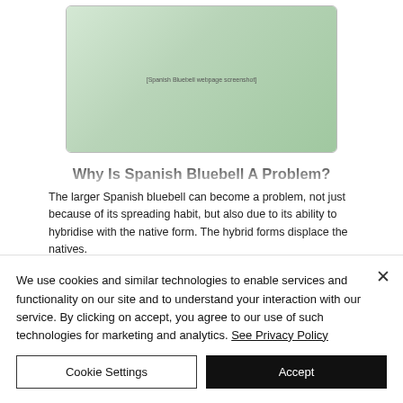[Figure (screenshot): Screenshot of a webpage about Spanish Bluebell with images of the plant, flowers, and descriptive text in multiple columns]
Why Is Spanish Bluebell A Problem?
The larger Spanish bluebell can become a problem, not just because of its spreading habit, but also due to its ability to hybridise with the native form. The hybrid forms displace the natives.
As well as the threat of extinction...
We use cookies and similar technologies to enable services and functionality on our site and to understand your interaction with our service. By clicking on accept, you agree to our use of such technologies for marketing and analytics. See Privacy Policy
Cookie Settings
Accept